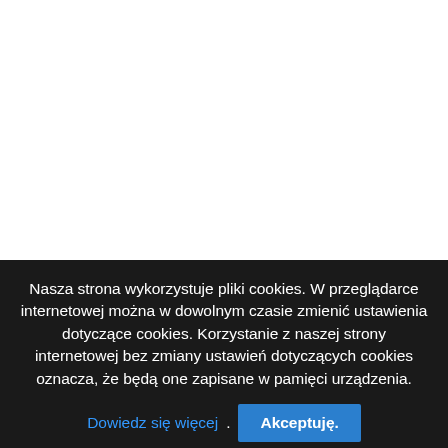[Figure (photo): White area representing a webpage or image content area above a cookie consent banner]
Nasza strona wykorzystuje pliki cookies. W przeglądarce internetowej można w dowolnym czasie zmienić ustawienia dotyczące cookies. Korzystanie z naszej strony internetowej bez zmiany ustawień dotyczących cookies oznacza, że będą one zapisane w pamięci urządzenia. Dowiedz się więcej. Akceptuję.